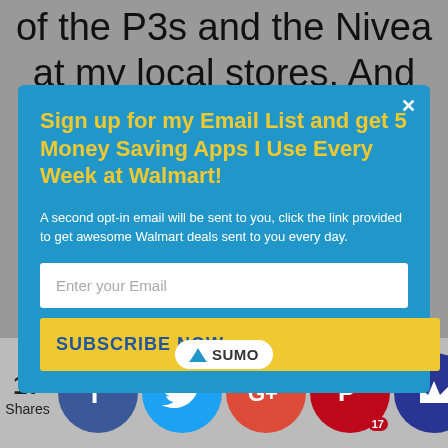of the P3s and the Nivea at my local stores. And they
[Figure (screenshot): Email signup modal popup with blue background. Title in yellow: 'Sign up for my Email List and get 5 Money Saving Apps I Use Every Week at Walmart!'. White subtitle text about opt-in email. White email input field with placeholder 'Enter your Email'. Yellow subscribe button with text 'SUBSCRIBE NOW'. Close button (x) in top right.]
now. I just wondered if
[Figure (infographic): Social share bar showing 17 Shares with Facebook, Twitter, Google+, Pinterest (17), and Sumo/crown social icons. SUMO pill badge visible in center.]